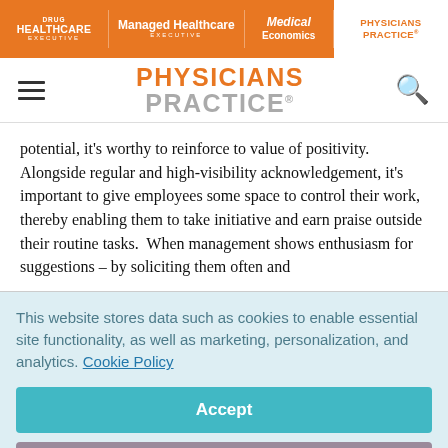Drug Healthcare Executive | Managed Healthcare Executive | Medical Economics | Physicians Practice
PHYSICIANS PRACTICE
potential, it's worthy to reinforce to value of positivity. Alongside regular and high-visibility acknowledgement, it's important to give employees some space to control their work, thereby enabling them to take initiative and earn praise outside their routine tasks.  When management shows enthusiasm for suggestions – by soliciting them often and
This website stores data such as cookies to enable essential site functionality, as well as marketing, personalization, and analytics. Cookie Policy
Accept
Deny